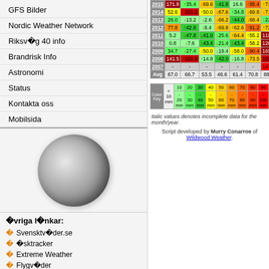GFS Bilder
Nordic Weather Network
Riksv�g 40 info
Brandrisk Info
Astronomi
Status
Kontakta oss
Mobilsida
[Figure (photo): Moon phase image - grayscale full moon]
�vriga l�nkar:
Svensktv�der.se
�sktracker
Extreme Weather
Flygv�der
Disclaimer
| Year | M1 | M2 | M3 | M4 | M5 | M6 | M7 | M8 | M9 |
| --- | --- | --- | --- | --- | --- | --- | --- | --- | --- |
| 2015 | 171.8 | 35.4↓ | 69.6↑ | 41.8 | 16.6 | 95.4↑ | 73.0 | 56.8↓ | 107.0↓ |
| 2014 | 52.6 | 101.2↓ | 50.0↑ | 67.6↓ | 34.8↑ | 69.8↓ | 71.0 | 178.4↓ | 35.4↑ |
| 2013 | 26.0 | 13.2↓ | 2.6↓ | 66.2↓ | 44.0↑ | 68.4↓ | 22.8 | 52.6↓ | 25.0↓ |
| 2012 | 77.8 | 42.8↑ | 8.4↓ | 69.8↓ | 62.6↑ | 91.2↑ | 72.0 | 95.0↓ | 121.6 |
| 2011 | 5.2 | 47.8↓ | 41.0↓ | 25.6↓ | 64.4↑ | 55.2↑ | 118.8 | 125.8 | 176.4 |
| 2010 | 0.8 | 7.6↓ | 43.4↓ | 21.4↓ | 43.4↓ | 58.2↓ | 120.6 | 44.8↑ | 89.8↑ |
| 2009 | 34.7 | 27.4↓ | 50.0↓ | 19.4↓ | 58.0↓ | 90.4↓ | 165.3 | 07.1↑ | 87.9↑ |
| 2008 | 141.5 | 102.9↑ | 14.8↑ | 42.0↑ | 16.8↓ | 73.5↓ | 102.2 | 69.7↑ | 97.6↑ |
| 2007 | - | - | - | - | - | - | 147.3 | 64.2↑ | 97.6↑ |
| Avg | 67.0 | 66.7 | 53.5 | 46.6 | 61.4 | 70.8 | 88.2 | 101.9 | 232.5 |
|  | <10 | 10 | 20 | 30 | 40 | 50 | 60 | 70 | 80 | 90 | 100 | 110+ |
| --- | --- | --- | --- | --- | --- | --- | --- | --- | --- | --- | --- | --- |
| Color | Key | mm | 20 mm | 30 mm | 40 mm | 50 mm | 60 mm | 70 mm | 80 mm | 90 mm | 100 mm | 110 mm | 120+ mm |
Italic values denotes incomplete data for the month/year.
Script developed by Murry Conarroe of Wildwood Weather.